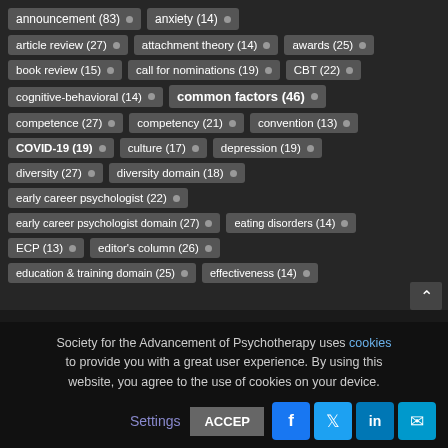announcement (83)
anxiety (14)
article review (27)
attachment theory (14)
awards (25)
book review (15)
call for nominations (19)
CBT (22)
cognitive-behavioral (14)
common factors (46)
competence (27)
competency (21)
convention (13)
COVID-19 (19)
culture (17)
depression (19)
diversity (27)
diversity domain (18)
early career psychologist (22)
early career psychologist domain (27)
eating disorders (14)
ECP (13)
editor's column (26)
education & training domain (25)
effectiveness (14)
Society for the Advancement of Psychotherapy uses cookies to provide you with a great user experience. By using this website, you agree to the use of cookies on your device.
Settings  ACCEPT